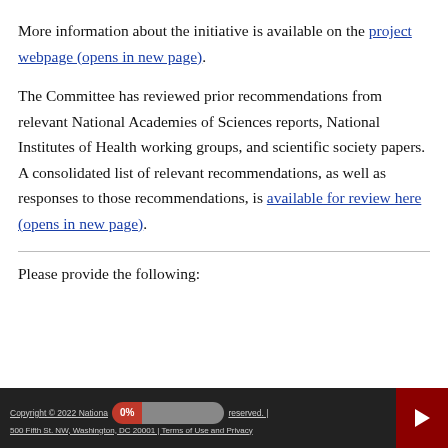More information about the initiative is available on the project webpage (opens in new page).
The Committee has reviewed prior recommendations from relevant National Academies of Sciences reports, National Institutes of Health working groups, and scientific society papers. A consolidated list of relevant recommendations, as well as responses to those recommendations, is available for review here (opens in new page).
Please provide the following:
Copyright © 2022 National Academies of Sciences. All rights reserved. | 500 Fifth St. NW, Washington, DC 20001 | Terms of Use and Privacy